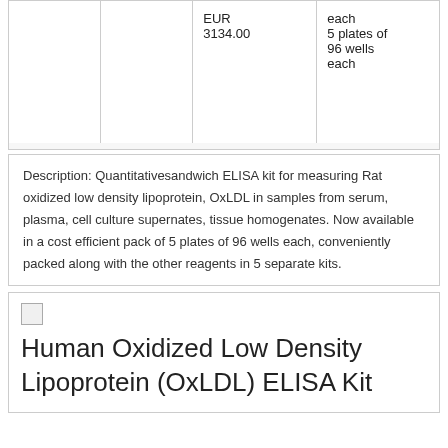|  |  | EUR
3134.00 | each
5 plates of
96 wells
each |
Description: Quantitativesandwich ELISA kit for measuring Rat oxidized low density lipoprotein, OxLDL in samples from serum, plasma, cell culture supernates, tissue homogenates. Now available in a cost efficient pack of 5 plates of 96 wells each, conveniently packed along with the other reagents in 5 separate kits.
Human Oxidized Low Density Lipoprotein (OxLDL) ELISA Kit